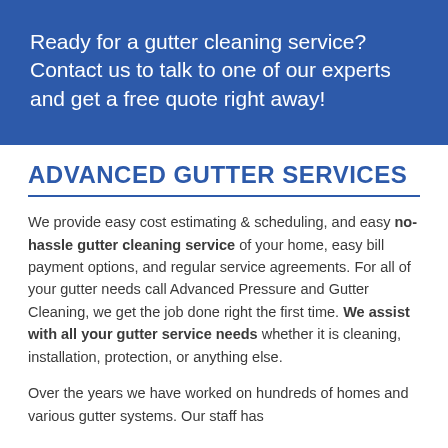Ready for a gutter cleaning service? Contact us to talk to one of our experts and get a free quote right away!
ADVANCED GUTTER SERVICES
We provide easy cost estimating & scheduling, and easy no-hassle gutter cleaning service of your home, easy bill payment options, and regular service agreements. For all of your gutter needs call Advanced Pressure and Gutter Cleaning, we get the job done right the first time. We assist with all your gutter service needs whether it is cleaning, installation, protection, or anything else.
Over the years we have worked on hundreds of homes and various gutter systems. Our staff has